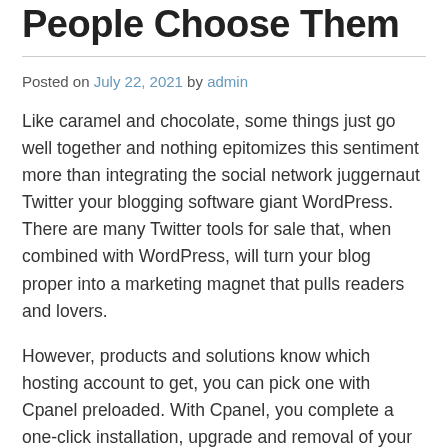People Choose Them
Posted on July 22, 2021 by admin
Like caramel and chocolate, some things just go well together and nothing epitomizes this sentiment more than integrating the social network juggernaut Twitter your blogging software giant WordPress. There are many Twitter tools for sale that, when combined with WordPress, will turn your blog proper into a marketing magnet that pulls readers and lovers.
However, products and solutions know which hosting account to get, you can pick one with Cpanel preloaded. With Cpanel, you complete a one-click installation, upgrade and removal of your wordpress platform. Are actually tons of numerous hosting plans and tons of numerous hosting plans